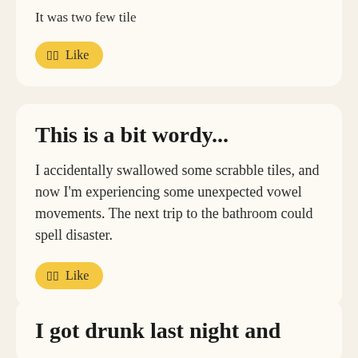It was two few tile
Like
This is a bit wordy...
I accidentally swallowed some scrabble tiles, and now I'm experiencing some unexpected vowel movements. The next trip to the bathroom could spell disaster.
Like
I got drunk last night and